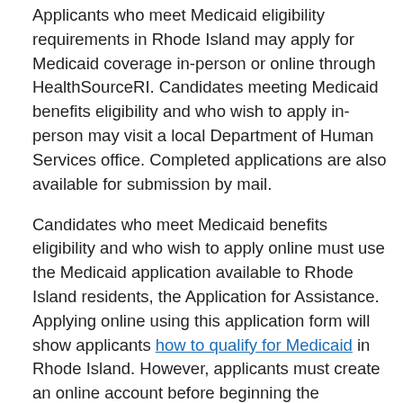Applicants who meet Medicaid eligibility requirements in Rhode Island may apply for Medicaid coverage in-person or online through HealthSourceRI. Candidates meeting Medicaid benefits eligibility and who wish to apply in-person may visit a local Department of Human Services office. Completed applications are also available for submission by mail.
Candidates who meet Medicaid benefits eligibility and who wish to apply online must use the Medicaid application available to Rhode Island residents, the Application for Assistance. Applying online using this application form will show applicants how to qualify for Medicaid in Rhode Island. However, applicants must create an online account before beginning the application process.
When creating an online account RI Medicaid benefits eligibility requires applicants to enter the applicant's birth date, Social Security Number, current health insurance